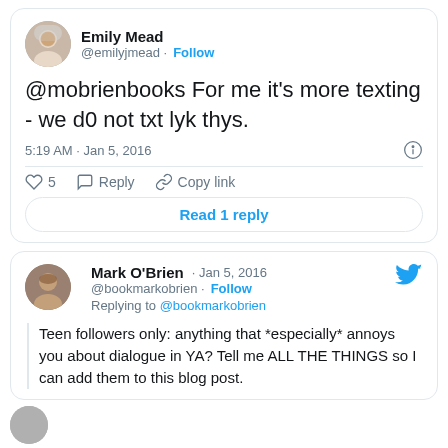[Figure (screenshot): Tweet card from Emily Mead (@emilyjmead) saying '@mobrienbooks For me it’s more texting - we d0 not txt lyk thys.' posted at 5:19 AM Jan 5, 2016, with 5 likes, Reply, Copy link actions, and a Read 1 reply button.]
[Figure (screenshot): Tweet card from Mark O'Brien (@bookmarkobrien) dated Jan 5, 2016, replying to @bookmarkobrien, text: 'Teen followers only: anything that *especially* annoys you about dialogue in YA? Tell me ALL THE THINGS so I can add them to this blog post.']